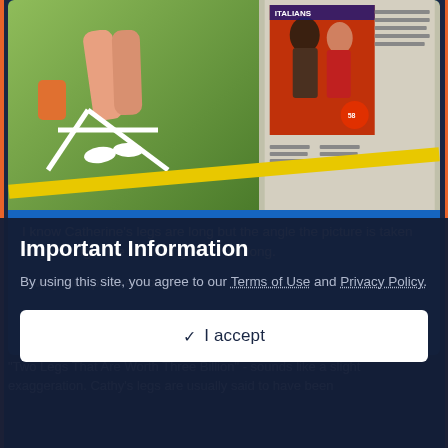[Figure (photo): Magazine spread/collage showing woman's legs on a lounge chair on grass and a magazine cover inset with a man and woman, with a yellow diagonal stripe at the bottom.]
I know Catherine's legs are long but the angle the picture is taken plays a huge role in making them too long.

A very nice picture though.
"Two Legs That Are Worth Three Billion" - sounds like a slight exaggeration. Cathy's legs are usually said to have been
Important Information
By using this site, you agree to our Terms of Use and Privacy Policy.
✓  I accept